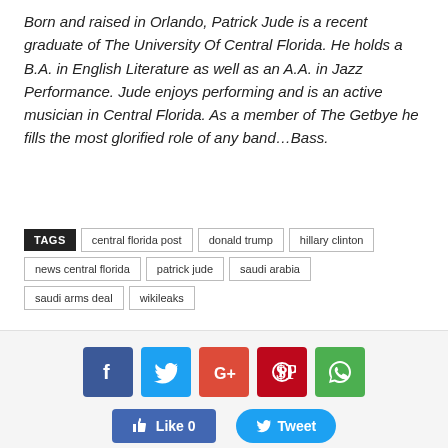Born and raised in Orlando, Patrick Jude is a recent graduate of The University Of Central Florida. He holds a B.A. in English Literature as well as an A.A. in Jazz Performance. Jude enjoys performing and is an active musician in Central Florida. As a member of The Getbye he fills the most glorified role of any band…Bass.
TAGS: central florida post, donald trump, hillary clinton, news central florida, patrick jude, saudi arabia, saudi arms deal, wikileaks
[Figure (infographic): Social share buttons: Facebook, Twitter, Google+, Pinterest, WhatsApp icons, and Like/Tweet buttons below]